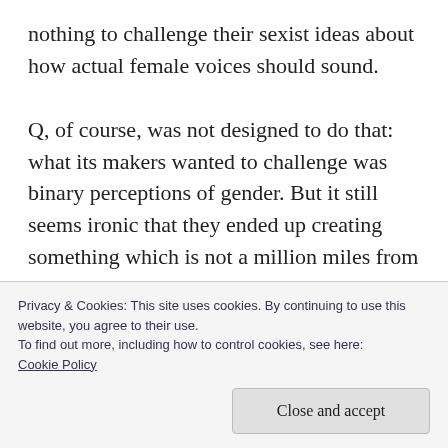nothing to challenge their sexist ideas about how actual female voices should sound.

Q, of course, was not designed to do that: what its makers wanted to challenge was binary perceptions of gender. But it still seems ironic that they ended up creating something which is not a million miles from the stereotypical female service-voice. I would rather have Q than some of the smiley-voiced fembots you hear telling you that ‘all our agents are busy’, or
Privacy & Cookies: This site uses cookies. By continuing to use this website, you agree to their use.
To find out more, including how to control cookies, see here: Cookie Policy
Close and accept